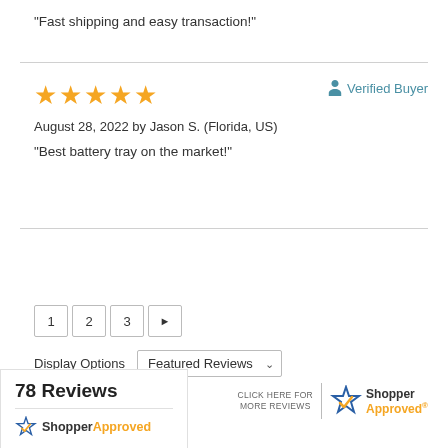“Fast shipping and easy transaction!”
August 28, 2022 by Jason S. (Florida, US)
“Best battery tray on the market!”
Verified Buyer
1  2  3  ►
Display Options  Featured Reviews
CLICK HERE FOR MORE REVIEWS | Shopper Approved
78 Reviews
ShopperApproved